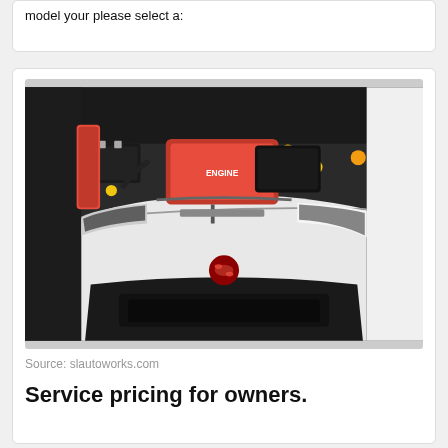model your please select a:
[Figure (photo): Overhead view of a white Subaru BRZ/sports car with the hood open revealing a red engine bay with various components visible, photographed from above at an angle showing the front bumper with Subaru logo.]
Source: slautoworks.com
Service pricing for owners.